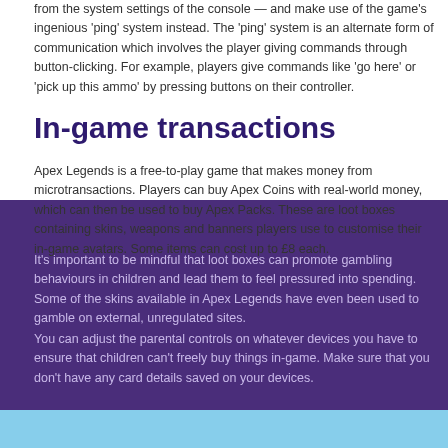from the system settings of the console — and make use of the game's ingenious 'ping' system instead. The 'ping' system is an alternate form of communication which involves the player giving commands through button-clicking. For example, players give commands like 'go here' or 'pick up this ammo' by pressing buttons on their controller.
In-game transactions
Apex Legends is a free-to-play game that makes money from microtransactions. Players can buy Apex Coins with real-world money, which can then be used to buy Apex Packs. These are loot boxes containing skins, weapons and banners players use to customise their in-game avatars. Some items can cost up to £8 each.
It's important to be mindful that loot boxes can promote gambling behaviours in children and lead them to feel pressured into spending. Some of the skins available in Apex Legends have even been used to gamble on external, unregulated sites.
You can adjust the parental controls on whatever devices you have to ensure that children can't freely buy things in-game. Make sure that you don't have any card details saved on your devices.